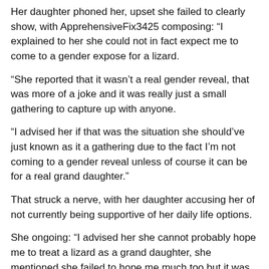Her daughter phoned her, upset she failed to clearly show, with ApprehensiveFix3425 composing: “I explained to her she could not in fact expect me to come to a gender expose for a lizard.
“She reported that it wasn’t a real gender reveal, that was more of a joke and it was really just a small gathering to capture up with anyone.
“I advised her if that was the situation she should’ve just known as it a gathering due to the fact I’m not coming to a gender reveal unless of course it can be for a real grand daughter.”
That struck a nerve, with her daughter accusing her of not currently being supportive of her daily life options.
She ongoing: “I advised her she cannot probably hope me to treat a lizard as a grand daughter, she mentioned she failed to hope me much too but it was crystal clear I did not